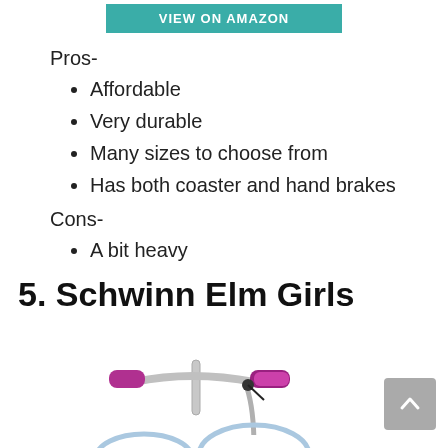[Figure (screenshot): Teal/turquoise button with text VIEW ON AMAZON in white capitals]
Pros-
Affordable
Very durable
Many sizes to choose from
Has both coaster and hand brakes
Cons-
A bit heavy
5. Schwinn Elm Girls
[Figure (photo): Bottom portion of a girls bicycle (Schwinn Elm) with purple/pink handlebar grips and chrome handlebars visible]